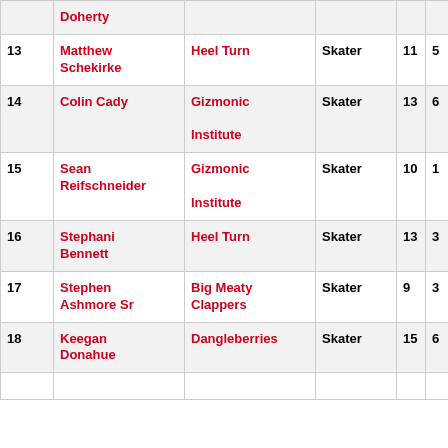| # | Name | Team | Role | Col1 | Col2 | Col3 |
| --- | --- | --- | --- | --- | --- | --- |
|  | Doherty |  |  |  |  |  |
| 13 | Matthew Schekirke | Heel Turn | Skater | 11 | 5 | 5 |
| 14 | Colin Cady | Gizmonic Institute | Skater | 13 | 6 | 3 |
| 15 | Sean Reifschneider | Gizmonic Institute | Skater | 10 | 1 | 8 |
| 16 | Stephani Bennett | Heel Turn | Skater | 13 | 3 | 5 |
| 17 | Stephen Ashmore Sr | Big Meaty Clappers | Skater | 9 | 3 | 5 |
| 18 | Keegan Donahue | Dangleberries | Skater | 15 | 6 | 2 |